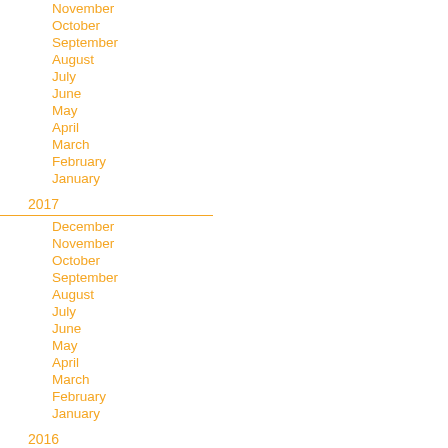November
October
September
August
July
June
May
April
March
February
January
2017
December
November
October
September
August
July
June
May
April
March
February
January
2016
December
November
October
September
August
July